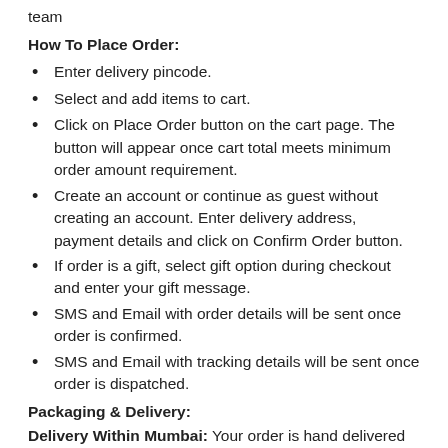team
How To Place Order:
Enter delivery pincode.
Select and add items to cart.
Click on Place Order button on the cart page. The button will appear once cart total meets minimum order amount requirement.
Create an account or continue as guest without creating an account. Enter delivery address, payment details and click on Confirm Order button.
If order is a gift, select gift option during checkout and enter your gift message.
SMS and Email with order details will be sent once order is confirmed.
SMS and Email with tracking details will be sent once order is dispatched.
Packaging & Delivery:
Delivery Within Mumbai: Your order is hand delivered by our delivery team. Items are handled with extreme care. We only